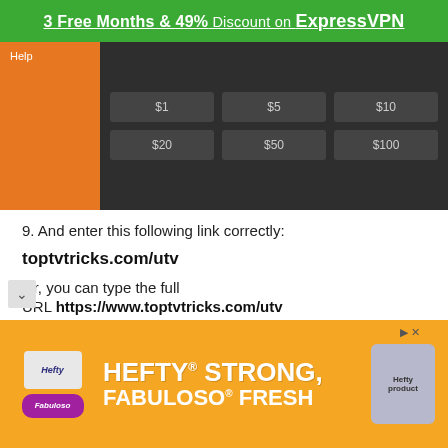3 Free Months & 49% Discount on ExpressVPN
[Figure (screenshot): Screenshot of a donation/payment interface showing an orange panel with Help label and a dark grid of payment amount buttons: $1, $5, $10, $20, $50, $100]
9. And enter this following link correctly:
toptvtricks.com/utv
Or, you can type the full URL https://www.toptvtricks.com/utv
Tip! Again, use the FireStick Remote App on your [device] for ease of typing and...
[Figure (advertisement): Hefty advertisement with orange background showing Hefty logo, Fabuloso logo, text: HEFTY STRONG, FABULOSO FRESH, and product image on right]